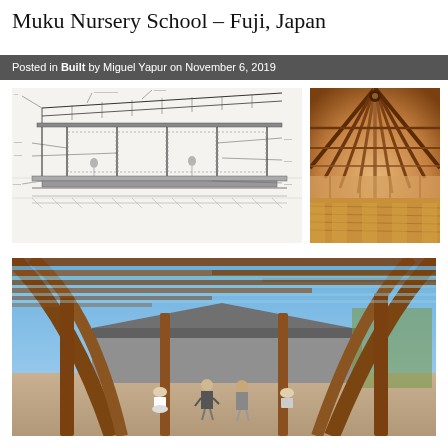Muku Nursery School – Fuji, Japan
Posted in Built by Miguel Yapur on November 6, 2019
[Figure (engineering-diagram): Architectural cross-section/detail drawing of the Muku Nursery School showing roof structure and wall sections with technical annotations]
[Figure (photo): Interior photo of the nursery school showing wooden beam ceiling radiating outward with sunlit wooden floor and glass walls]
[Figure (photo): Exterior photo of the Muku Nursery School courtyard viewed from under wooden pergola/canopy structure showing curved wooden beams and children playing in courtyard]